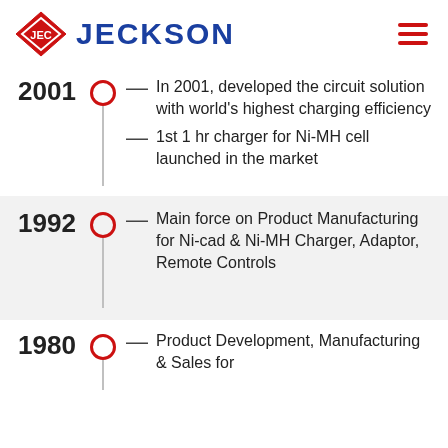[Figure (logo): Jeckson company logo with red diamond JEC badge and blue JECKSON text]
2001 — In 2001, developed the circuit solution with world's highest charging efficiency — 1st 1 hr charger for Ni-MH cell launched in the market
1992 — Main force on Product Manufacturing for Ni-cad & Ni-MH Charger, Adaptor, Remote Controls
1980 — Product Development, Manufacturing & Sales for